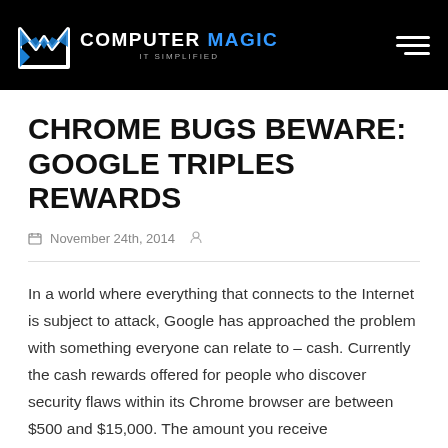COMPUTER MAGIC — IT SIMPLIFIED
CHROME BUGS BEWARE: GOOGLE TRIPLES REWARDS
November 24th, 2014
In a world where everything that connects to the Internet is subject to attack, Google has approached the problem with something everyone can relate to – cash. Currently the cash rewards offered for people who discover security flaws within its Chrome browser are between $500 and $15,000. The amount you receive